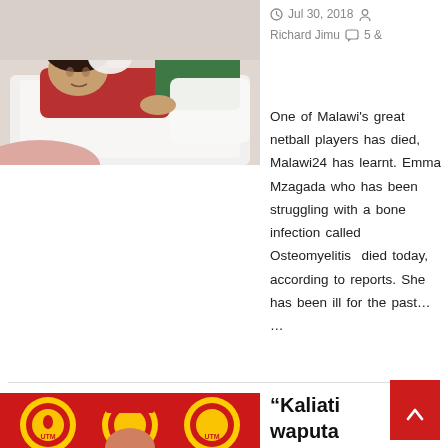[Figure (photo): Photo of a person lying in a hospital bed covered with a white blanket, wearing a red top, with a green pillow or item visible]
Jul 30, 2018   Richard Jimu   5 &
One of Malawi's great netball players has died, Malawi24 has learnt. Emma Mzagada who has been struggling with a bone infection called Osteomyelitis  died today, according to reports. She has been ill for the past… …
[Figure (photo): Photo of people wearing red UTM caps/hats with UTM logos on a red background]
“Kaliati waputa